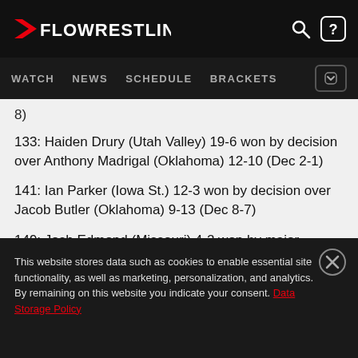FLOWRESTLING — WATCH  NEWS  SCHEDULE  BRACKETS
8)
133: Haiden Drury (Utah Valley) 19-6 won by decision over Anthony Madrigal (Oklahoma) 12-10 (Dec 2-1)
141: Ian Parker (Iowa St.) 12-3 won by decision over Jacob Butler (Oklahoma) 9-13 (Dec 8-7)
149: Josh Edmond (Missouri) 4-2 won by major decision over Dylan Martinez (Air Force) 8-4 (MD 17-8)
This website stores data such as cookies to enable essential site functionality, as well as marketing, personalization, and analytics. By remaining on this website you indicate your consent. Data Storage Policy